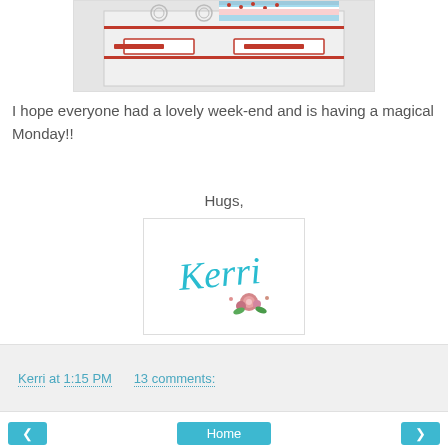[Figure (photo): Photo of a vintage white tin toy stove/oven with red trim accents, with colorful fabric fat quarters stacked on top in red/white/blue floral patterns.]
I hope everyone had a lovely week-end and is having a magical Monday!!
Hugs,
[Figure (illustration): Signature image of the name 'Kerri' written in teal/aqua cursive script with a small floral rose illustration below, on a white background with a light border.]
Kerri at 1:15 PM    13 comments:
Home